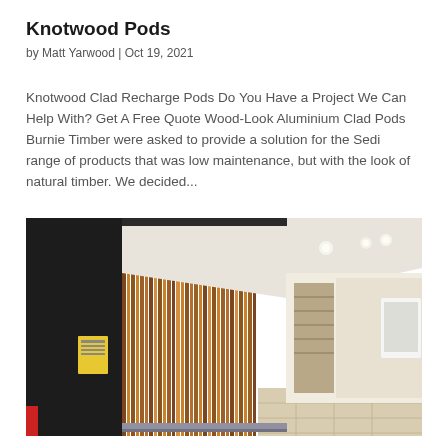Knotwood Pods
by Matt Yarwood | Oct 19, 2021
Knotwood Clad Recharge Pods Do You Have a Project We Can Help With? Get A Free Quote Wood-Look Aluminium Clad Pods Burnie Timber were asked to provide a solution for the Sedi range of products that was low maintenance, but with the look of natural timber. We decided...
[Figure (photo): Interior corridor showing a wall clad with vertical wood-look aluminium slats (Knotwood), with dark black wall on the left and a hallway with retail stores visible in the background. Ceiling has recessed lighting.]